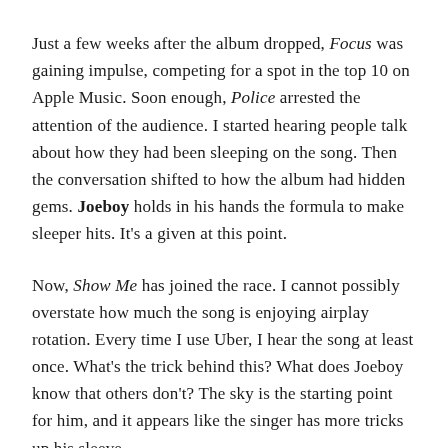Just a few weeks after the album dropped, Focus was gaining impulse, competing for a spot in the top 10 on Apple Music. Soon enough, Police arrested the attention of the audience. I started hearing people talk about how they had been sleeping on the song. Then the conversation shifted to how the album had hidden gems. Joeboy holds in his hands the formula to make sleeper hits. It's a given at this point.
Now, Show Me has joined the race. I cannot possibly overstate how much the song is enjoying airplay rotation. Every time I use Uber, I hear the song at least once. What's the trick behind this? What does Joeboy know that others don't? The sky is the starting point for him, and it appears like the singer has more tricks up his sleeve.